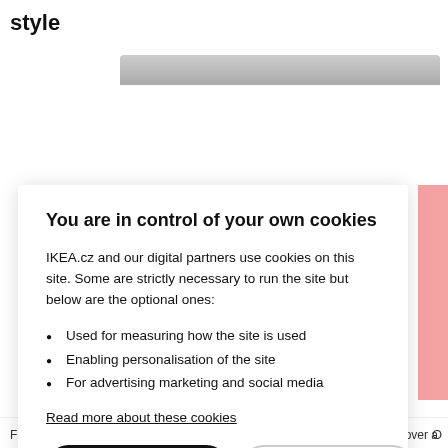style
[Figure (photo): Partial product image visible at top of page, partially obscured by cookie modal]
You are in control of your own cookies
IKEA.cz and our digital partners use cookies on this site. Some are strictly necessary to run the site but below are the optional ones:
Used for measuring how the site is used
Enabling personalisation of the site
For advertising marketing and social media
Read more about these cookies
Accept All Cookies
Cookies Settings
Fitted sheet, 180x200 cm    Duvet cover a
O